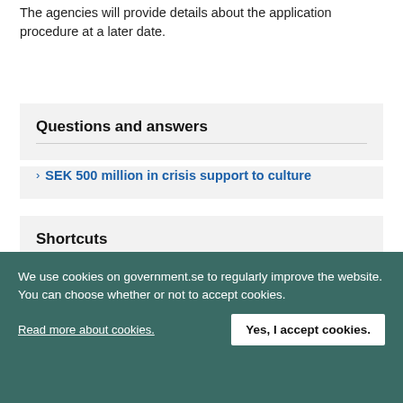The agencies will provide details about the application procedure at a later date.
Questions and answers
SEK 500 million in crisis support to culture
Shortcuts
The Government's work in response to the virus responsible for COVID-19
We use cookies on government.se to regularly improve the website. You can choose whether or not to accept cookies.
Read more about cookies.